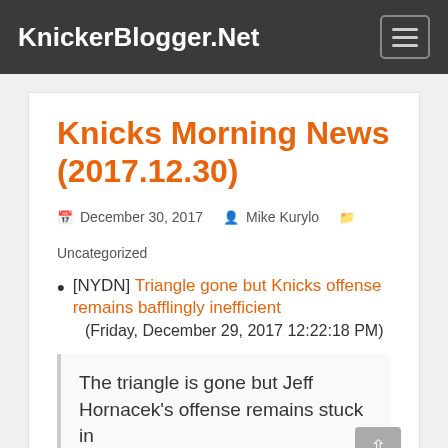KnickerBlogger.Net
Knicks Morning News (2017.12.30)
December 30, 2017   Mike Kurylo   Uncategorized
[NYDN] Triangle gone but Knicks offense remains bafflingly inefficient (Friday, December 29, 2017 12:22:18 PM)
The triangle is gone but Jeff Hornacek's offense remains stuck in